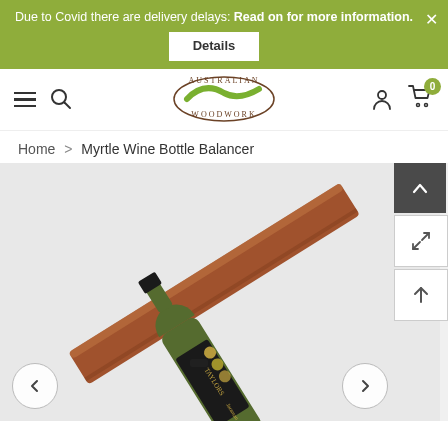Due to Covid there are delivery delays: Read on for more information.
[Figure (screenshot): Australian Woodwork website navigation bar with hamburger menu, search icon, Australian Woodwork oval logo, user icon, and cart icon with badge showing 0]
Home > Myrtle Wine Bottle Balancer
[Figure (photo): Product photo of a Myrtle Wood Wine Bottle Balancer holding a Taylor's Jaraman wine bottle at an angle against a light grey background, with previous and next navigation arrows]